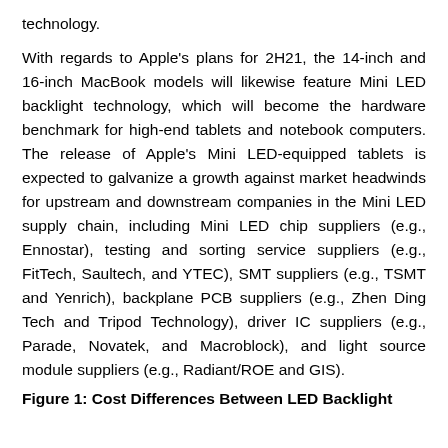technology.
With regards to Apple's plans for 2H21, the 14-inch and 16-inch MacBook models will likewise feature Mini LED backlight technology, which will become the hardware benchmark for high-end tablets and notebook computers. The release of Apple's Mini LED-equipped tablets is expected to galvanize a growth against market headwinds for upstream and downstream companies in the Mini LED supply chain, including Mini LED chip suppliers (e.g., Ennostar), testing and sorting service suppliers (e.g., FitTech, Saultech, and YTEC), SMT suppliers (e.g., TSMT and Yenrich), backplane PCB suppliers (e.g., Zhen Ding Tech and Tripod Technology), driver IC suppliers (e.g., Parade, Novatek, and Macroblock), and light source module suppliers (e.g., Radiant/ROE and GIS).
Figure 1: Cost Differences Between LED Backlight...